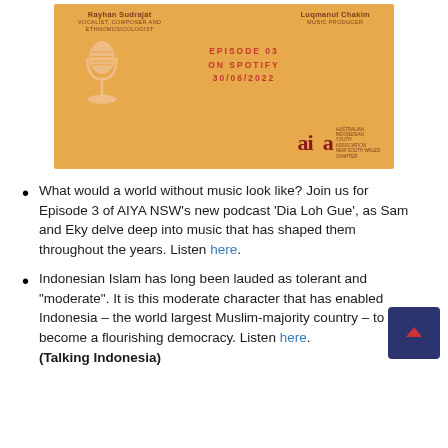[Figure (illustration): Podcast promotional banner with orange background showing two hosts: Rayhan Sudrajat (Vocalist, Composer and Ethnomusicologist) and Luqmanul Chakim (Music Producer), a microphone icon, Episode 03 on Spotify 30/06/2022, and the AIYA (Australian Indonesian Youth Association NSW Chapter) logo]
What would a world without music look like? Join us for Episode 3 of AIYA NSW's new podcast 'Dia Loh Gue', as Sam and Eky delve deep into music that has shaped them throughout the years. Listen here.
Indonesian Islam has long been lauded as tolerant and "moderate". It is this moderate character that has enabled Indonesia – the world largest Muslim-majority country – to become a flourishing democracy. Listen here (Talking Indonesia)